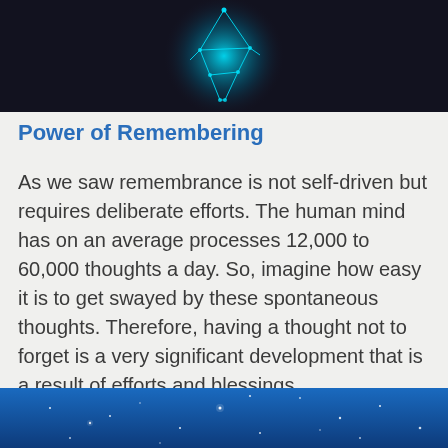[Figure (photo): Dark background image with a glowing cyan/teal geometric figure or constellation shape in the center]
Power of Remembering
As we saw remembrance is not self-driven but requires deliberate efforts. The human mind has on an average processes 12,000 to 60,000 thoughts a day. So, imagine how easy it is to get swayed by these spontaneous thoughts. Therefore, having a thought not to forget is a very significant development that is a result of efforts and blessings.
READ MORE
[Figure (photo): Blue starry night sky background image, bottom strip]